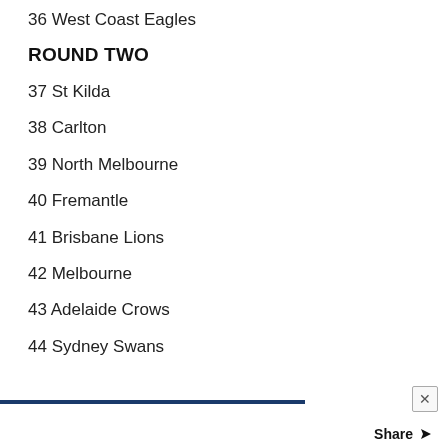36 West Coast Eagles
ROUND TWO
37 St Kilda
38 Carlton
39 North Melbourne
40 Fremantle
41 Brisbane Lions
42 Melbourne
43 Adelaide Crows
44 Sydney Swans
Share ➤